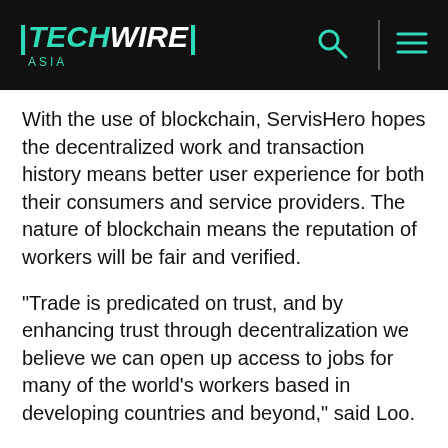TECHWIRE ASIA
With the use of blockchain, ServisHero hopes the decentralized work and transaction history means better user experience for both their consumers and service providers. The nature of blockchain means the reputation of workers will be fair and verified.
“Trade is predicated on trust, and by enhancing trust through decentralization we believe we can open up access to jobs for many of the world’s workers based in developing countries and beyond,” said Loo.
ServisHero isn’t the first in adopting ICOs for raising money. Across Asia, there are more and more startups opting to raise funds via ICO. Earlier this